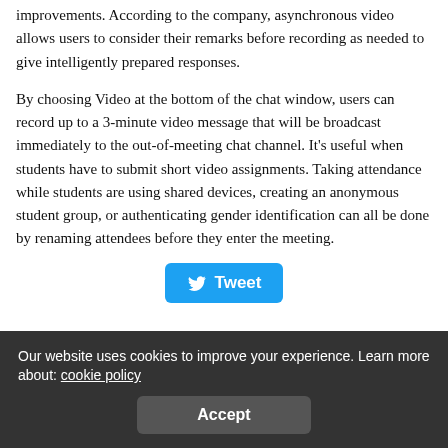improvements. According to the company, asynchronous video allows users to consider their remarks before recording as needed to give intelligently prepared responses.
By choosing Video at the bottom of the chat window, users can record up to a 3-minute video message that will be broadcast immediately to the out-of-meeting chat channel. It’s useful when students have to submit short video assignments. Taking attendance while students are using shared devices, creating an anonymous student group, or authenticating gender identification can all be done by renaming attendees before they enter the meeting.
[Figure (other): Twitter Tweet button]
Our website uses cookies to improve your experience. Learn more about: cookie policy
Accept